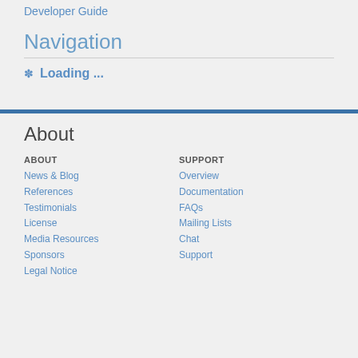Developer Guide
Navigation
Loading ...
About
ABOUT
News & Blog
References
Testimonials
License
Media Resources
Sponsors
Legal Notice
SUPPORT
Overview
Documentation
FAQs
Mailing Lists
Chat
Support